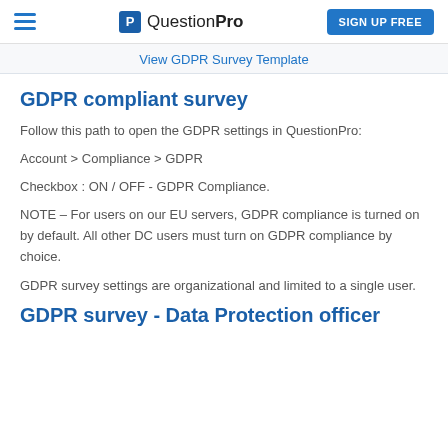QuestionPro | SIGN UP FREE
View GDPR Survey Template
GDPR compliant survey
Follow this path to open the GDPR settings in QuestionPro:
Account > Compliance > GDPR
Checkbox : ON / OFF - GDPR Compliance.
NOTE – For users on our EU servers, GDPR compliance is turned on by default. All other DC users must turn on GDPR compliance by choice.
GDPR survey settings are organizational and limited to a single user.
GDPR survey - Data Protection officer